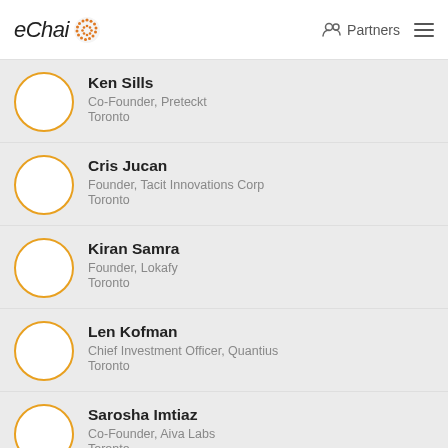eChai | Partners
Ken Sills
Co-Founder, Preteckt
Toronto
Cris Jucan
Founder, Tacit Innovations Corp
Toronto
Kiran Samra
Founder, Lokafy
Toronto
Len Kofman
Chief Investment Officer, Quantius
Toronto
Sarosha Imtiaz
Co-Founder, Aiva Labs
Toronto
Jimmy Padia
Founder, Floatbot